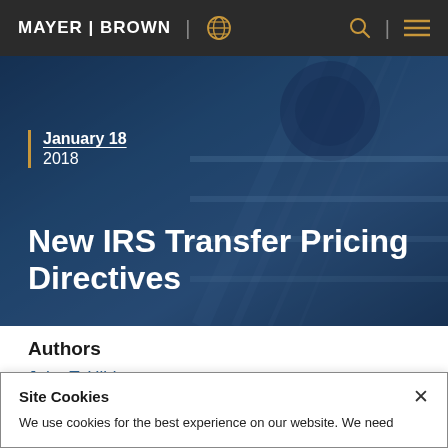MAYER | BROWN
[Figure (photo): Industrial machinery or data center equipment photographed from below at an angle, blue-toned with metallic structures]
January 18
2018
New IRS Transfer Pricing Directives
Authors
John T. Hildy
Site Cookies
We use cookies for the best experience on our website. We need